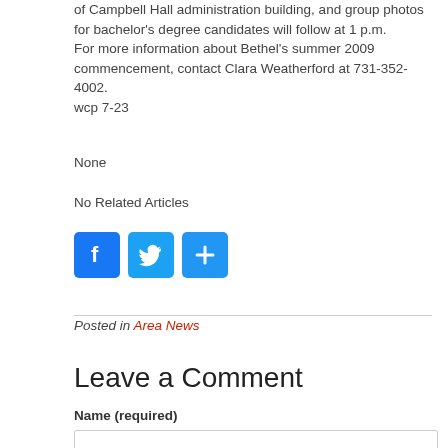for master's degree candidates will be at 12:30 p.m., in front of Campbell Hall administration building, and group photos for bachelor's degree candidates will follow at 1 p.m. For more information about Bethel's summer 2009 commencement, contact Clara Weatherford at 731-352-4002. wcp 7-23
None
No Related Articles
[Figure (infographic): Social share buttons: Facebook (blue), Twitter (blue), and a generic share button (blue with plus icon)]
Posted in Area News
Leave a Comment
Name (required)